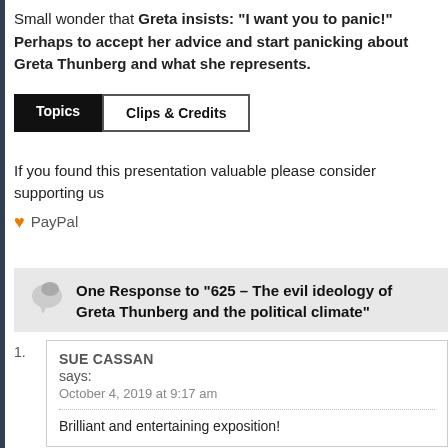Small wonder that Greta insists: “I want you to panic!” Perhaps to accept her advice and start panicking about Greta Thunberg and what she represents.
Topics | Clips & Credits
If you found this presentation valuable please consider supporting us ♥ PayPal
One Response to “625 – The evil ideology of Greta Thunberg and the political climate”
1. SUE CASSAN says: October 4, 2019 at 9:17 am
Brilliant and entertaining exposition!
Sorry, the comment form is closed at this time.